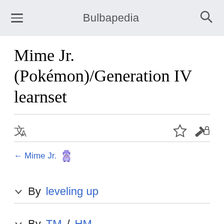Bulbapedia
Mime Jr. (Pokémon)/Generation IV learnset
← Mime Jr.
By leveling up
By TM/HM
By breeding